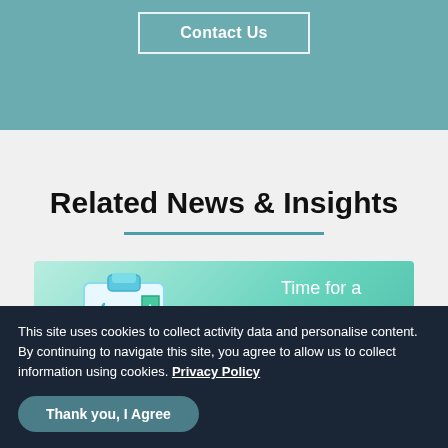Contact Us
Related News & Insights
[Figure (illustration): Medical clipboard with checklist, syringe, and health shield icon on a teal gradient background. Text overlay reads 'Time for a competition' with remaining text cut off.]
This site uses cookies to collect activity data and personalise content. By continuing to navigate this site, you agree to allow us to collect information using cookies. Privacy Policy
Thank you, I Agree